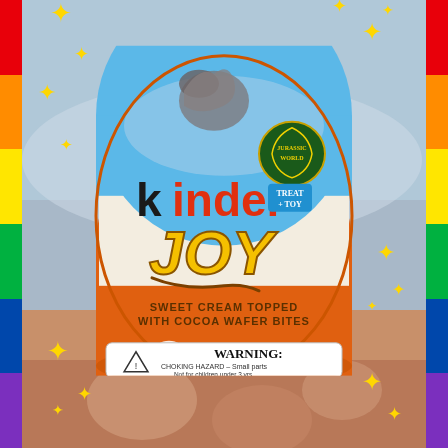[Figure (photo): A Kinder Joy egg candy product with Jurassic World theme held in a hand. The egg has a blue top with a T-Rex dinosaur image and Jurassic World logo, white middle section showing 'kinder' brand name in black and red, large 'JOY' text in yellow, 'SWEET CREAM TOPPED WITH COCOA WAFER BITES' tagline in brown, and an orange bottom section. A warning label is visible at the bottom. The image has a rainbow striped border on the right side and sparkle/star decorations overlay the image.]